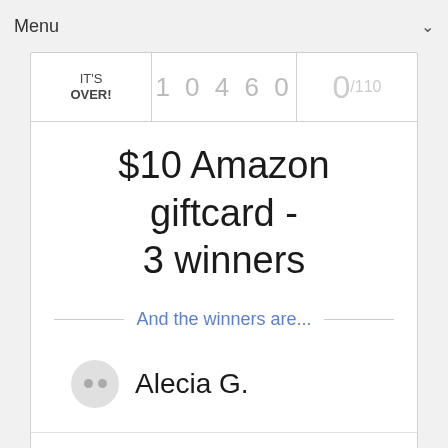Menu
| IT'S OVER! | 10460 | 0/110 |
| --- | --- | --- |
$10 Amazon giftcard - 3 winners
And the winners are...
Alecia G.
Tracie M.